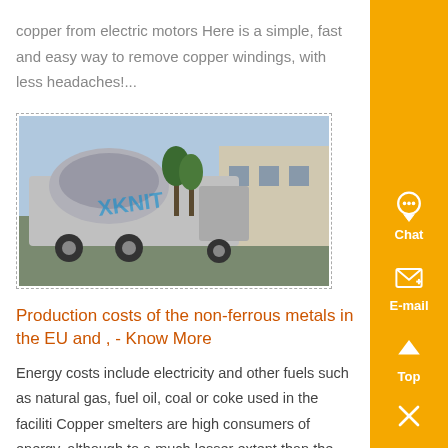copper from electric motors Here is a simple, fast and easy way to remove copper windings, with less headaches!...
[Figure (photo): Industrial machinery or heavy equipment truck, possibly a cement mixer or mining machine, parked outdoors with a building in the background. Watermark text 'XKNIT' visible.]
Production costs of the non-ferrous metals in the EU and , - Know More
Energy costs include electricity and other fuels such as natural gas, fuel oil, coal or coke used in the faciliti Copper smelters are high consumers of energy, although to a much lesser extent than the aluminium on Copper refineries are also power intensive process The major source of energy in electrolytic zinc smelters is